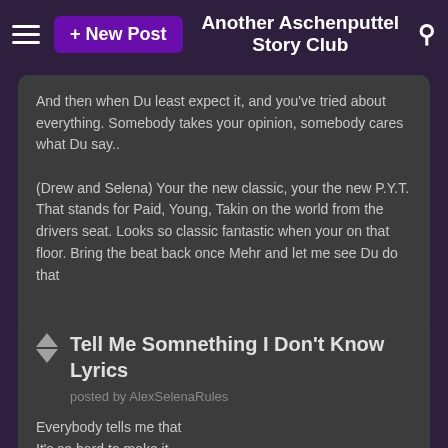+ New Post   Another Aschenputtel Story Club
And then when Du least expect it, and you've tried about everything. Somebody takes your opinion, somebody cares what Du say..

(Drew and Selena) Your the new classic, your the new P.Y.T.
That stands for Paid, Young, Takin on the world from the drivers seat. Looks so classic fantastic when your on that floor. Bring the beat back once Mehr and let me see Du do that

Mehr lyrics: link
All about Drew Seeley: link
Tell Me Somnething I Don't Know Lyrics
posted by AlexSelenaRules
Everybody tells me that
It's so hard to make it
It's so hard to break in
There's no way to fake it
Everybody tells me that it's wrong what i'm feeling
I shouldn't believe in